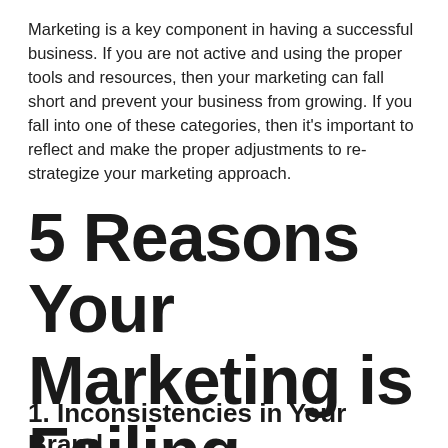Marketing is a key component in having a successful business. If you are not active and using the proper tools and resources, then your marketing can fall short and prevent your business from growing. If you fall into one of these categories, then it’s important to reflect and make the proper adjustments to re-strategize your marketing approach.
5 Reasons Your Marketing is Failing
1. Inconsistencies in Your Brand